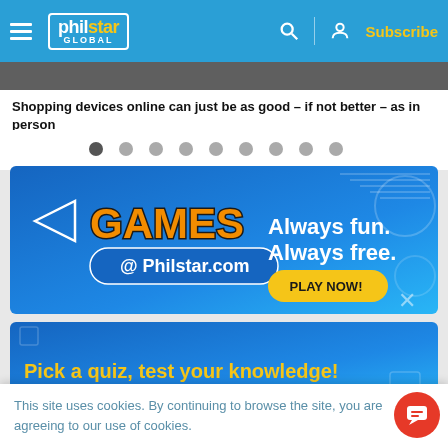philstar GLOBAL — Subscribe
[Figure (photo): Photo strip at top of article]
Shopping devices online can just be as good – if not better – as in person
[Figure (infographic): Carousel navigation dots (9 dots, first active)]
[Figure (infographic): Games @ Philstar.com banner ad — Always fun. Always free. PLAY NOW!]
[Figure (infographic): Pick a quiz, test your knowledge! banner]
This site uses cookies. By continuing to browse the site, you are agreeing to our use of cookies.